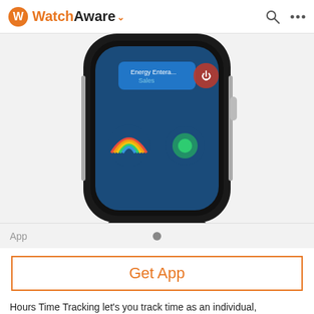WatchAware
[Figure (photo): Apple Watch device showing app screen with colorful icons including 'Energy Entera... Sales' and rainbow/circle icons on a blue background. Bottom portion of the watch including the Digital Crown and band connector is visible.]
App
Get App
Hours Time Tracking let's you track time as an individual, freelancer, contractor, employee or as part of a team. Activate a simple timer to track where you spend your hours, use the visual timeline to correct mistakes or use the bulk timesheet entry to create a timesheet after the fact. Flexibility makes this the ideal time tracker tool to track all of your hours easily and quickly.